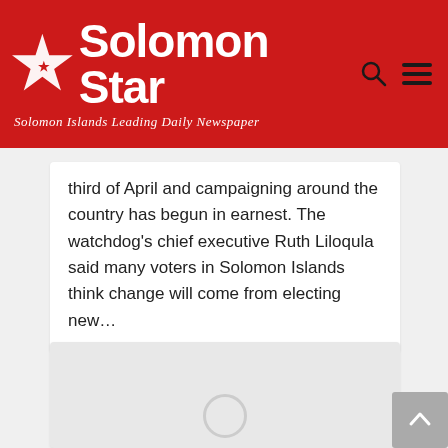Solomon Star — Solomon Islands Leading Daily Newspaper
third of April and campaigning around the country has begun in earnest. The watchdog's chief executive Ruth Liloqula said many voters in Solomon Islands think change will come from electing new…
[Figure (other): Loading placeholder / advertisement area with a circular loading indicator at the bottom center]